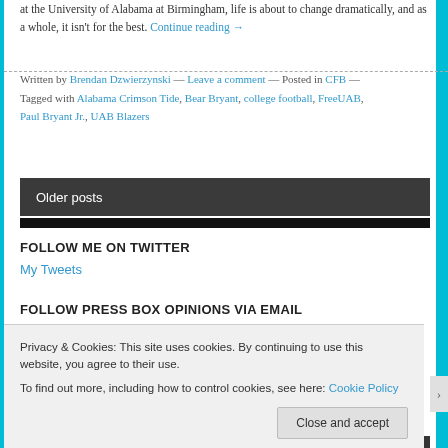at the University of Alabama at Birmingham, life is about to change dramatically, and as a whole, it isn't for the best. Continue reading →
Written by Brendan Dzwierzynski — Leave a comment — Posted in CFB — Tagged with Alabama Crimson Tide, Bear Bryant, college football, FreeUAB, Paul Bryant Jr., UAB Blazers
Older posts
FOLLOW ME ON TWITTER
My Tweets
FOLLOW PRESS BOX OPINIONS VIA EMAIL
Privacy & Cookies: This site uses cookies. By continuing to use this website, you agree to their use. To find out more, including how to control cookies, see here: Cookie Policy
Close and accept